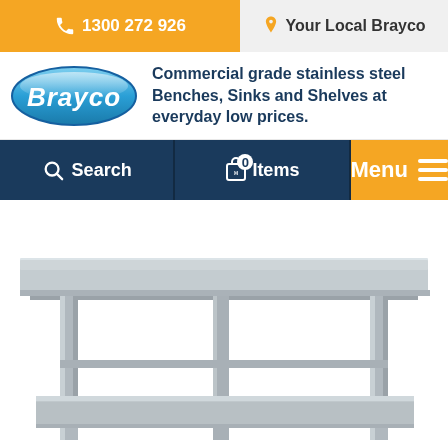1300 272 926 | Your Local Brayco
[Figure (logo): Brayco logo - blue oval with white italic text 'Brayco']
Commercial grade stainless steel Benches, Sinks and Shelves at everyday low prices.
Search | 0 Items | Menu
[Figure (photo): Commercial grade stainless steel bench/table with undershelf, photographed from front-left angle on white background]